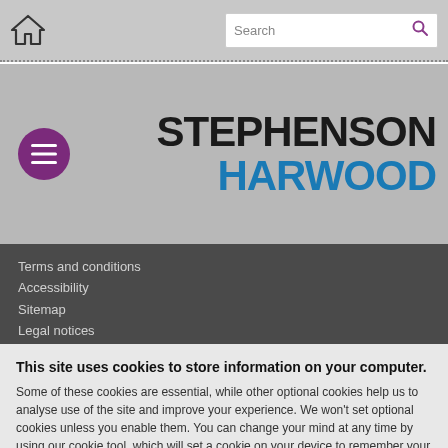[Figure (screenshot): Stephenson Harwood law firm website screenshot showing navigation bar with home icon and search box, logo area with purple menu button and firm name 'STEPHENSON HARWOOD', footer navigation links, and a cookie consent banner with accept/reject/more info buttons.]
Search
STEPHENSON HARWOOD
Terms and conditions
Accessibility
Sitemap
Legal notices
This site uses cookies to store information on your computer. Some of these cookies are essential, while other optional cookies help us to analyse use of the site and improve your experience. We won't set optional cookies unless you enable them. You can change your mind at any time by using our cookie tool, which will set a cookie on your device to remember your preferences.